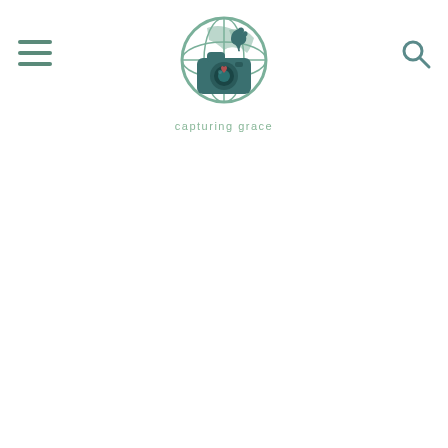[Figure (logo): Capturing Grace logo: a green globe with a teal camera in front, elephant silhouette on globe, text 'capturing grace' below in muted green]
[Figure (other): Hamburger menu icon (three horizontal lines) in teal/green color, top left]
[Figure (other): Search magnifying glass icon in teal/green color, top right]